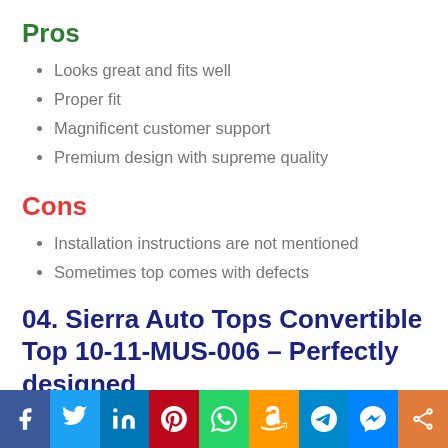Pros
Looks great and fits well
Proper fit
Magnificent customer support
Premium design with supreme quality
Cons
Installation instructions are not mentioned
Sometimes top comes with defects
04. Sierra Auto Tops Convertible Top 10-11-MUS-006 – Perfectly designed